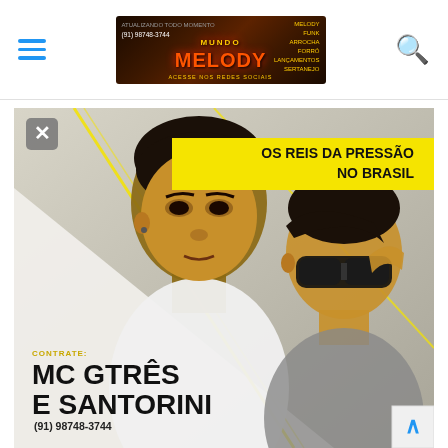Navigation header with hamburger menu, Mundo Melody banner advertisement, and search icon
[Figure (photo): Promotional photo of two young men (MC Gtrês e Santorini) against a light background with yellow diagonal accents. Yellow banner top-right reads 'OS REIS DA PRESSÃO NO BRASIL'. Bottom-left overlay text reads 'CONTRATE: MC GTRÊS E SANTORINI (91) 98748-3744'. Close (X) button top-left corner.]